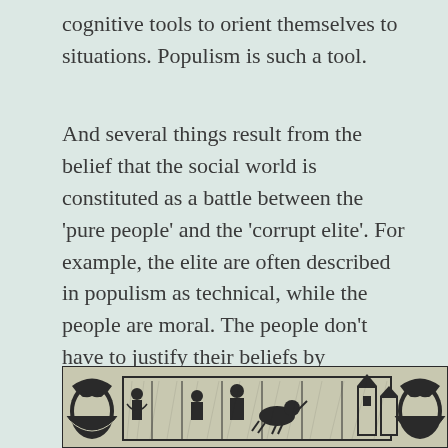cognitive tools to orient themselves to situations. Populism is such a tool.
And several things result from the belief that the social world is constituted as a battle between the 'pure people' and the 'corrupt elite'. For example, the elite are often described in populism as technical, while the people are moral. The people don't have to justify their beliefs by rationalizations – like the elite – instead, the people feel what is right. The elite are bureaucrats and technocrats, while the people, and their general will, are the true sovereign.
[Figure (illustration): A black and white woodcut-style illustration showing a medieval or historical scene with figures, animals, buildings and heraldic decorative elements.]